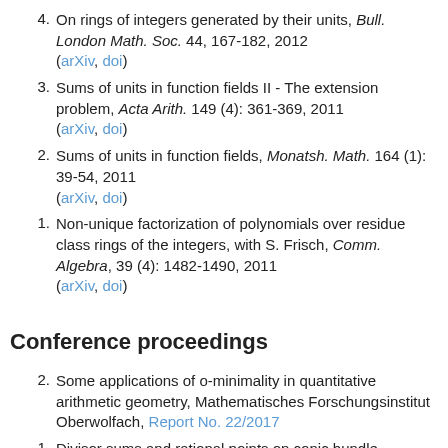4. On rings of integers generated by their units, Bull. London Math. Soc. 44, 167-182, 2012 (arXiv, doi)
3. Sums of units in function fields II - The extension problem, Acta Arith. 149 (4): 361-369, 2011 (arXiv, doi)
2. Sums of units in function fields, Monatsh. Math. 164 (1): 39-54, 2011 (arXiv, doi)
1. Non-unique factorization of polynomials over residue class rings of the integers, with S. Frisch, Comm. Algebra, 39 (4): 1482-1490, 2011 (arXiv, doi)
Conference proceedings
2. Some applications of o-minimality in quantitative arithmetic geometry, Mathematisches Forschungsinstitut Oberwolfach, Report No. 22/2017
1. Divisor sums and rational points on conic bundle surfaces, Mathematisches Forschungsinstitut Oberwolfach, Report No. 53/2016